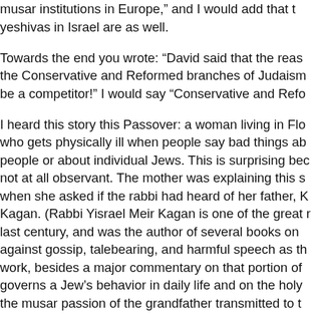musar institutions in Europe," and I would add that the yeshivas in Israel are as well.
Towards the end you wrote: “David said that the reason the Conservative and Reformed branches of Judaism be a competitor!” I would say “Conservative and Refo
I heard this story this Passover: a woman living in Flo who gets physically ill when people say bad things ab people or about individual Jews. This is surprising bec not at all observant. The mother was explaining this s when she asked if the rabbi had heard of her father, K Kagan. (Rabbi Yisrael Meir Kagan is one of the great r last century, and was the author of several books on against gossip, talebearing, and harmful speech as th work, besides a major commentary on that portion of governs a Jew’s behavior in daily life and on the holy the musar passion of the grandfather transmitted to t through the genes.
Aren’t a significant percentage of American Buddhist